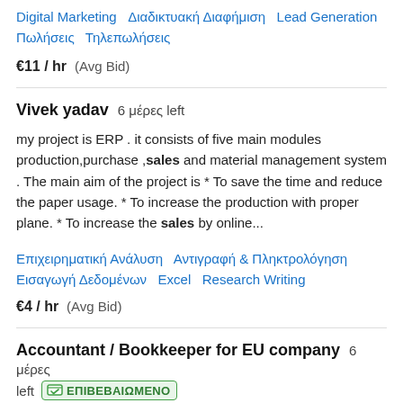Digital Marketing  Διαδικτυακή Διαφήμιση  Lead Generation  Πωλήσεις  Τηλεπωλήσεις
€11 / hr  (Avg Bid)
Vivek yadav  6 μέρες left
my project is ERP . it consists of five main modules production,purchase ,sales and material management system . The main aim of the project is * To save the time and reduce the paper usage. * To increase the production with proper plane. * To increase the sales by online...
Επιχειρηματική Ανάλυση  Αντιγραφή & Πληκτρολόγηση  Εισαγωγή Δεδομένων  Excel  Research Writing
€4 / hr  (Avg Bid)
Accountant / Bookkeeper for EU company  6 μέρες left  ΕΠΙΒΕΒΑΙΩΜΕΝΟ